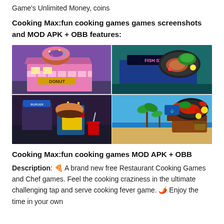Game's Unlimited Money, coins
Cooking Max:fun cooking games games screenshots and MOD APK + OBB features:
[Figure (screenshot): Four-panel screenshot of Cooking Max game showing: top-left a donut shop with a giant pink donut on roof, top-right a fish steak restaurant with seafood display, bottom-left a burger/fries street food stall, bottom-right a lobster seafood beach restaurant on a pirate ship.]
Cooking Max:fun cooking games MOD APK + OBB
Description: 🍕 A brand new free Restaurant Cooking Games and Chef games. Feel the cooking craziness in the ultimate challenging tap and serve cooking fever game. 🌶️ Enjoy the time in your own